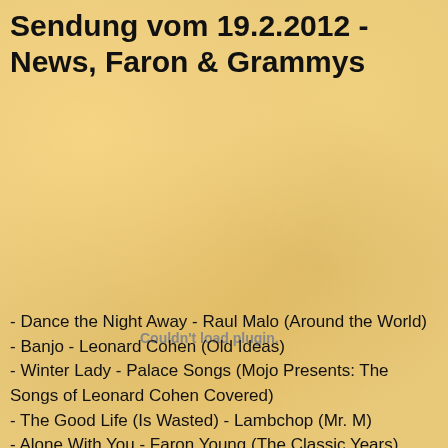Sendung vom 19.2.2012 - News, Faron & Grammys
[Figure (other): Embedded audio/video plugin area showing 'Couldn't load plugin.' message]
- Dance the Night Away - Raul Malo (Around the World)
- Banjo - Leonard Cohen (Old Ideas)
- Winter Lady - Palace Songs (Mojo Presents: The Songs of Leonard Cohen Covered)
- The Good Life (Is Wasted) - Lambchop (Mr. M)
- Alone With You - Faron Young (The Classic Years)